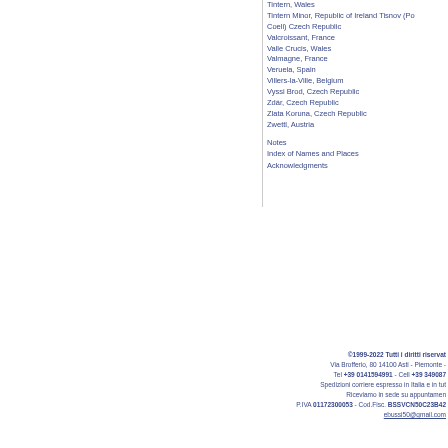Tintern, Wales
Tintern Minor, Republic of Ireland Tisnov (Po Coeli) Czech Republic
Valcroissant, France
Valle Crucis, Wales
Valmagne, France
Veruela, Spain
Villers-la-Ville, Belgium
Vyssi Brod, Czech Republic
Zdár, Czech Republic
Zlata Koruna, Czech Republic
Zwettl, Austria
Notes
Index of Names and Places
Acknowledgments
©1999-2022 Tutti i diritti riservati Via Brofferio, 80 14100 Asti - Piemonte - Tel +39 0141594991 - Cell +39 349087... Spedizioni corriere espresso in Italia e in tut... Riceviamo in sede su appuntamen... P.IVA 01172300053 - Cod.Fisc. BSSVCN50C23B42... ebussi50@gmail.com